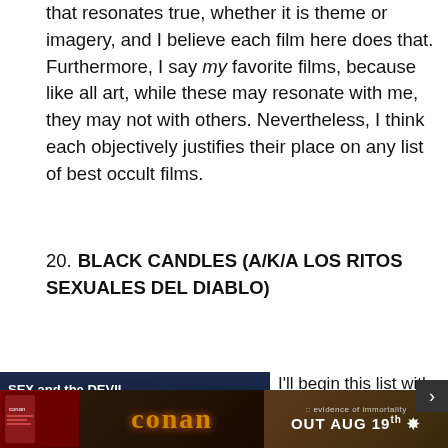that resonates true, whether it is theme or imagery, and I believe each film here does that. Furthermore, I say my favorite films, because like all art, while these may resonate with me, they may not with others. Nevertheless, I think each objectively justifies their place on any list of best occult films.
20. BLACK CANDLES (A/K/A LOS RITOS SEXUALES DEL DIABLO)
[Figure (photo): Movie poster/cover image with dark occult imagery and text reading 'SEX and the DEVIL ...A Wicked Combination']
I'll begin this list with a trilogy of sexploitation flicks. The 70s and 80s were
[Figure (screenshot): Advertisement banner at bottom of page for Conan, showing 'OUT AUG 19th' with dark fantasy imagery]